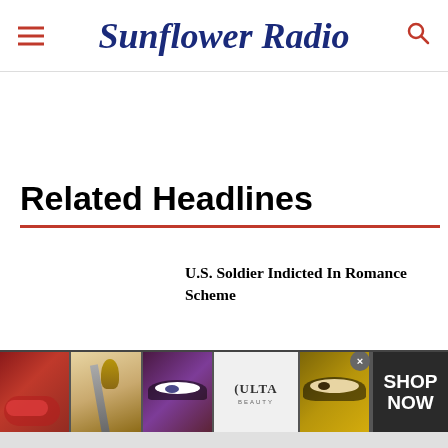Sunflower Radio
Related Headlines
U.S. Soldier Indicted In Romance Scheme
[Figure (photo): Ulta Beauty advertisement banner showing makeup images (lips with lipstick, makeup brush, eye with makeup, Ulta Beauty logo, eye close-up) with SHOP NOW call to action]